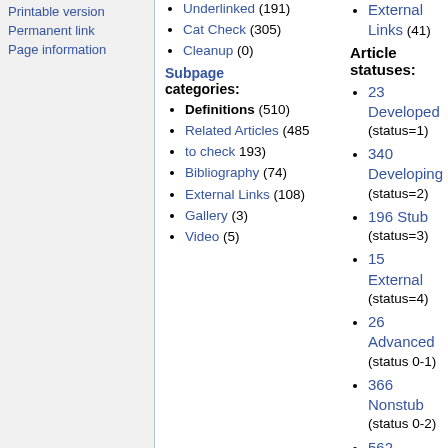Printable version
Permanent link
Page information
Underlinked (191)
Cat Check (305)
Cleanup (0)
Subpage categories:
Definitions (510)
Related Articles (485)
to check 193)
Bibliography (74)
External Links (108)
Gallery (3)
Video (5)
External Links (41)
Article statuses:
23 Developed (status=1)
340 Developing (status=2)
196 Stub (status=3)
15 External (status=4)
26 Advanced (status 0-1)
366 Nonstub (status 0-2)
562 Internal (status 0-3)
The content of the pages listed below represent a concise definition or